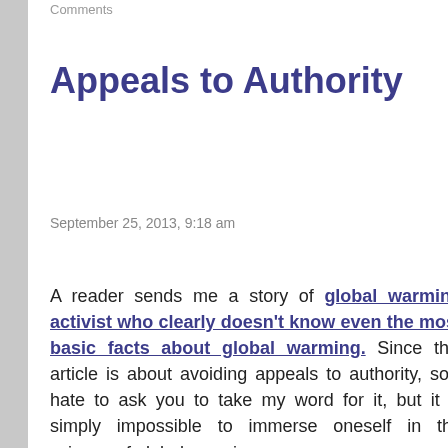Comments
Appeals to Authority
September 25, 2013, 9:18 am
A reader sends me a story of global warming activist who clearly doesn't know even the most basic facts about global warming. Since this article is about avoiding appeals to authority, so I hate to ask you to take my word for it, but it is simply impossible to immerse oneself in the science of global warming